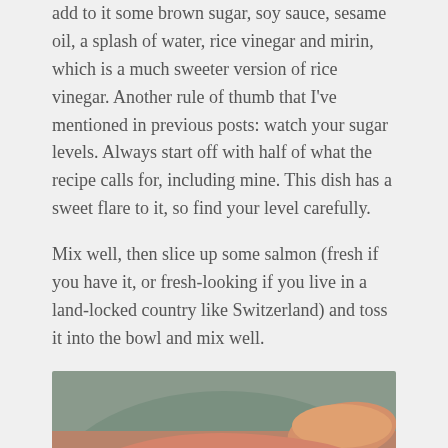add to it some brown sugar, soy sauce, sesame oil, a splash of water, rice vinegar and mirin, which is a much sweeter version of rice vinegar. Another rule of thumb that I've mentioned in previous posts: watch your sugar levels. Always start off with half of what the recipe calls for, including mine. This dish has a sweet flare to it, so find your level carefully.
Mix well, then slice up some salmon (fresh if you have it, or fresh-looking if you live in a land-locked country like Switzerland) and toss it into the bowl and mix well.
[Figure (photo): Close-up photo of sliced raw salmon fillets on a plate, showing the pink-orange flesh with visible fat marbling.]